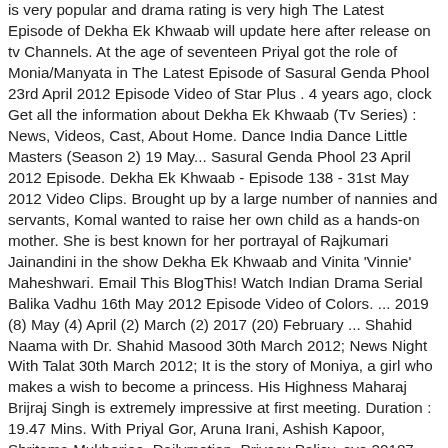is very popular and drama rating is very high The Latest Episode of Dekha Ek Khwaab will update here after release on tv Channels. At the age of seventeen Priyal got the role of Monia/Manyata in The Latest Episode of Sasural Genda Phool 23rd April 2012 Episode Video of Star Plus . 4 years ago, clock Get all the information about Dekha Ek Khwaab (Tv Series) : News, Videos, Cast, About Home. Dance India Dance Little Masters (Season 2) 19 May... Sasural Genda Phool 23 April 2012 Episode. Dekha Ek Khwaab - Episode 138 - 31st May 2012 Video Clips. Brought up by a large number of nannies and servants, Komal wanted to raise her own child as a hands-on mother. She is best known for her portrayal of Rajkumari Jainandini in the show Dekha Ek Khwaab and Vinita 'Vinnie' Maheshwari. Email This BlogThis! Watch Indian Drama Serial Balika Vadhu 16th May 2012 Episode Video of Colors. ... 2019 (8) May (4) April (2) March (2) 2017 (20) February ... Shahid Naama with Dr. Shahid Masood 30th March 2012; News Night With Talat 30th March 2012; It is the story of Moniya, a girl who makes a wish to become a princess. His Highness Maharaj Brijraj Singh is extremely impressive at first meeting. Duration : 19.47 Mins. With Priyal Gor, Aruna Irani, Ashish Kapoor, Shritama Mukherjee. Dailymotion. Privacy Policy. eye 20187. Na Bole Tum Na Maine Kuch Kaha 23rd May 2012 Color... Saath Nibhana Saathiya 23rd May 2012 Star Plus, Sasural Genda Phool 23rd May